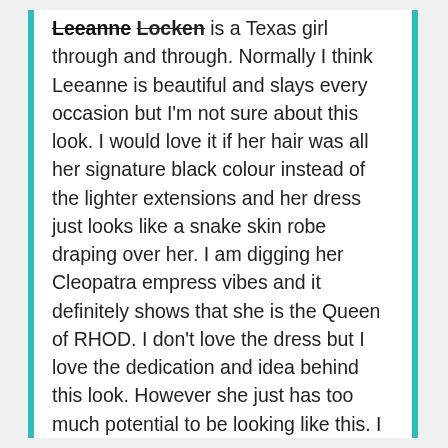...and Leeanne is a Texas girl through and through. Normally I think Leeanne is beautiful and slays every occasion but I'm not sure about this look. I would love it if her hair was all her signature black colour instead of the lighter extensions and her dress just looks like a snake skin robe draping over her. I am digging her Cleopatra empress vibes and it definitely shows that she is the Queen of RHOD. I don't love the dress but I love the dedication and idea behind this look. However she just has too much potential to be looking like this. I love you diva!